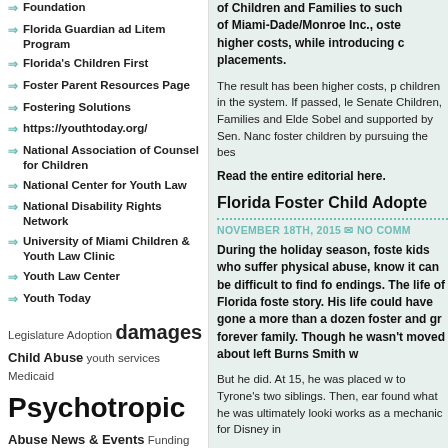Foundation
Florida Guardian ad Litem Program
Florida's Children First
Foster Parent Resources Page
Fostering Solutions
https://youthtoday.org/
National Association of Counsel for Children
National Center for Youth Law
National Disability Rights Network
University of Miami Children & Youth Law Clinic
Youth Law Center
Youth Today
Legislature Adoption damages Child Abuse youth services Medicaid Psychotropic Abuse News & Events Funding Florida Representation guardian ad litem DCF Legal Sexual
of Children and Families to such of Miami-Dade/Monroe Inc., oste higher costs, while introducing c placements.
The result has been higher costs, p children in the system. If passed, le Senate Children, Families and Elde Sobel and supported by Sen. Nanc foster children by pursuing the bes
Read the entire editorial here.
Florida Foster Child Adopte
NOVEMBER 18TH, 2015  NO COMM
During the holiday season, foste kids who suffer physical abuse, know it can be difficult to find fo endings. The life of Florida foste story. His life could have gone a more than a dozen foster and gr forever family. Though he wasn't moved about left Burns Smith w
But he did. At 15, he was placed w to Tyrone's two siblings. Then, ear found what he was ultimately looki works as a mechanic for Disney in